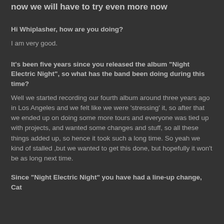now we will have to try even more now
Hi Whiplasher, how are you doing?
I am very good.
It's been five years since you released the album "Night Electric Night", so what has the band been doing during this time?
Well we started recording our fourth album around three years ago in Los Angeles and we felt like we were 'stressing' it, so after that we ended up on doing some more tours and everyone was tied up with projects, and wanted some changes and stuff, so all these things added up, so hence it took such a long time. So yeah we kind of stalled ,but we wanted to get this done, but hopefully it won't be as long next time.
Since "Night Electric Night" you have had a line-up change, Cat